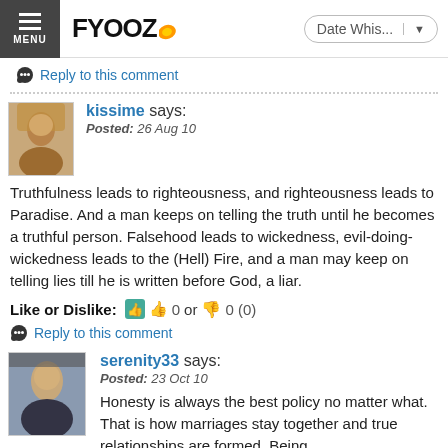FYOOZ — Date Whis...
Reply to this comment
kissime says:
Posted: 26 Aug 10
Truthfulness leads to righteousness, and righteousness leads to Paradise. And a man keeps on telling the truth until he becomes a truthful person. Falsehood leads to wickedness, evil-doing-wickedness leads to the (Hell) Fire, and a man may keep on telling lies till he is written before God, a liar.
Like or Dislike: 0 or 0 (0)
Reply to this comment
serenity33 says:
Posted: 23 Oct 10
Honesty is always the best policy no matter what. That is how marriages stay together and true relationships are formed. Being